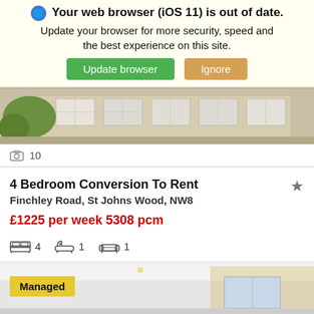⚠ Your web browser (iOS 11) is out of date. Update your browser for more security, speed and the best experience on this site.
Update browser | Ignore
[Figure (photo): Exterior photo of a residential property building]
📷 10
4 Bedroom Conversion To Rent
Finchley Road, St Johns Wood, NW8
£1225 per week 5308 pcm
4 bedrooms, 1 bathroom, 1 reception
[Figure (photo): Interior photo of a room with white walls and natural light, with a Managed label overlay]